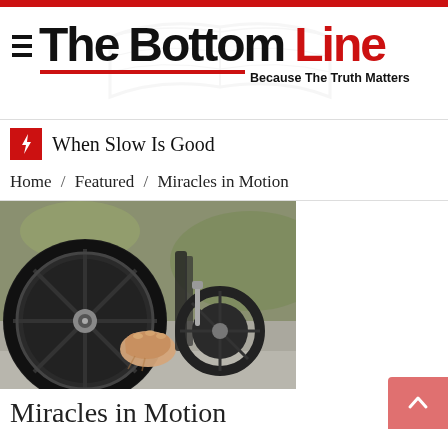[Figure (logo): The Bottom Line logo with tagline 'Because The Truth Matters', hamburger menu icon, red underline, and open book watermark in background]
When Slow Is Good
Home / Featured / Miracles in Motion
[Figure (photo): Close-up photograph of a person's hand gripping a wheelchair wheel, outdoors on pavement]
Miracles in Motion